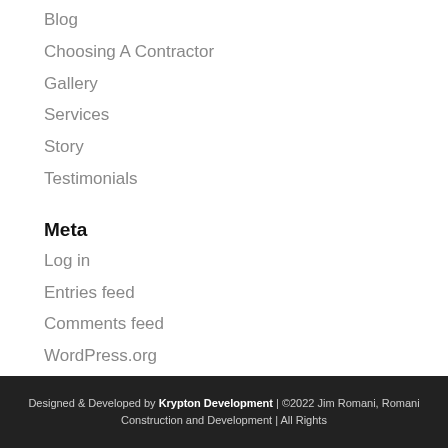Blog
Choosing A Contractor
Gallery
Services
Story
Testimonials
Meta
Log in
Entries feed
Comments feed
WordPress.org
Designed & Developed by Krypton Development |  ©2022 Jim Romani, Romani Construction and Development | All Rights